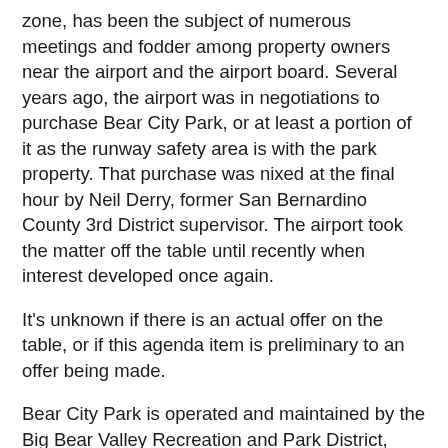zone, has been the subject of numerous meetings and fodder among property owners near the airport and the airport board. Several years ago, the airport was in negotiations to purchase Bear City Park, or at least a portion of it as the runway safety area is with the park property. That purchase was nixed at the final hour by Neil Derry, former San Bernardino County 3rd District supervisor. The airport took the matter off the table until recently when interest developed once again.
It's unknown if there is an actual offer on the table, or if this agenda item is preliminary to an offer being made.
Bear City Park is operated and maintained by the Big Bear Valley Recreation and Park District, which is under the San Bernardino County Special Districts Department umbrella.
The airport board meets at 4 p.m. in the terminal building.
Prior to the closed session portion of the meeting, the board considers a number of items including the financial reports, the upcoming air fair, the maintenance hangar and future